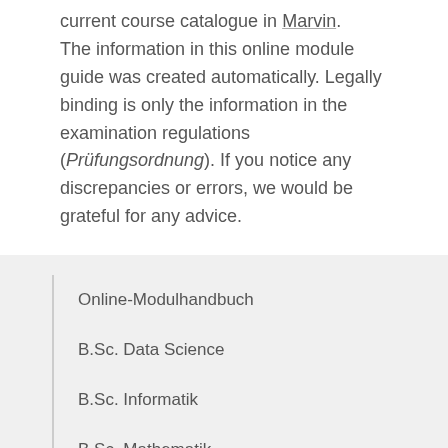current course catalogue in Marvin. The information in this online module guide was created automatically. Legally binding is only the information in the examination regulations (Prüfungsordnung). If you notice any discrepancies or errors, we would be grateful for any advice.
Online-Modulhandbuch
B.Sc. Data Science
B.Sc. Informatik
B.Sc. Mathematik